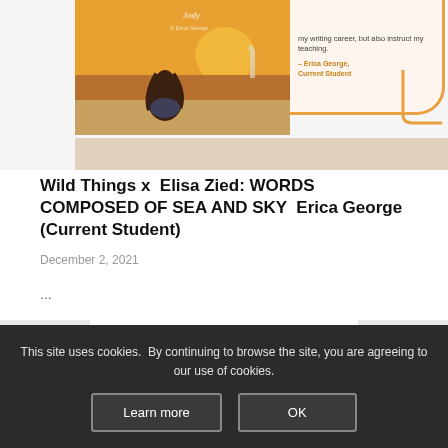[Figure (illustration): Top portion of a blog/website page showing a book cover image (a girl sitting on a beach at sunset) with a testimonial quote box to the right, and a tan/beige decorative bar below.]
Wild Things x Elisa Zied: WORDS COMPOSED OF SEA AND SKY Erica George (Current Student)
December 2, 2021
...
[Figure (illustration): Partial view of a second article thumbnail showing stylized text 'DOGS LOVE CATS' in blue bubble letters, with gray thumbnail boxes on left and right sides.]
This site uses cookies. By continuing to browse the site, you are agreeing to our use of cookies.